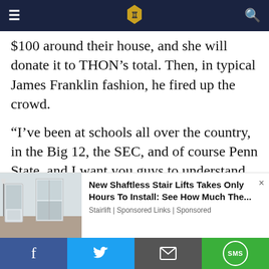Daily Collegian header with logo
$100 around their house, and she will donate it to THON’s total. Then, in typical James Franklin fashion, he fired up the crowd.
“I’ve been at schools all over the country, in the Big 12, the SEC, and of course Penn State, and I want you guys to understand something. This is special.”
He ended his short appearance with, “Keep going strong. Keep the energy going, keep making a positive difference in everyone’s lives.”
[Figure (infographic): Advertisement for New Shaftless Stair Lifts with a kitchen/hallway image on the left]
Social share bar: Facebook, Twitter, Email, SMS